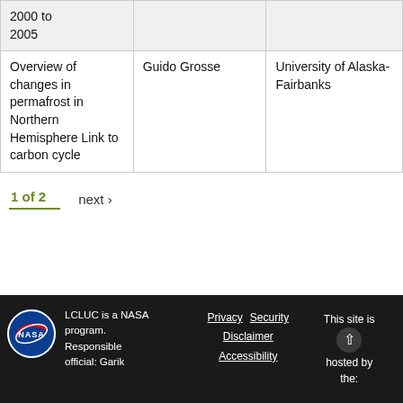|  |  |  |
| --- | --- | --- |
| 2000 to 2005 |  |  |
| Overview of changes in permafrost in Northern Hemisphere Link to carbon cycle | Guido Grosse | University of Alaska-Fairbanks |
1 of 2   next ›
LCLUC is a NASA program. Responsible official: Garik   Privacy   Security   Disclaimer   Accessibility   This site is hosted by the: